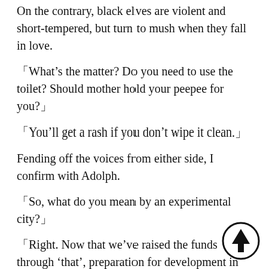On the contrary, black elves are violent and short-tempered, but turn to mush when they fall in love.
「What’s the matter? Do you need to use the toilet? Should mother hold your peepee for you?」
「You’ll get a rash if you don’t wipe it clean.」
Fending off the voices from either side, I confirm with Adolph.
「So, what do you mean by an experimental city?」
「Right. Now that we’ve raised the funds through ‘that’, preparation for development in the south can start. With that said, we don’t have enough manpower to build a pioneer village, so……」
[Figure (illustration): A circle with an upward-pointing arrow icon in the bottom-right corner of the page.]